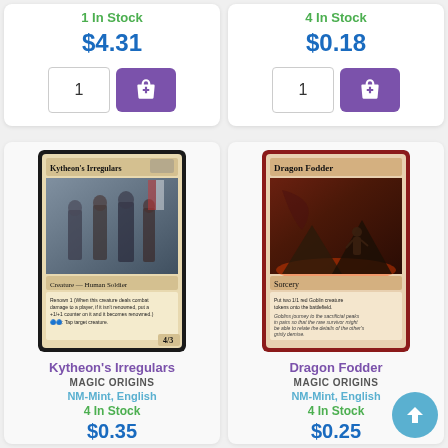1 In Stock
$4.31
1
4 In Stock
$0.18
1
[Figure (illustration): Magic: The Gathering card - Kytheon's Irregulars, Creature - Human Soldier, 4/3]
Kytheon's Irregulars
MAGIC ORIGINS
NM-Mint, English
4 In Stock
$0.35
[Figure (illustration): Magic: The Gathering card - Dragon Fodder, Sorcery]
Dragon Fodder
MAGIC ORIGINS
NM-Mint, English
4 In Stock
$0.25